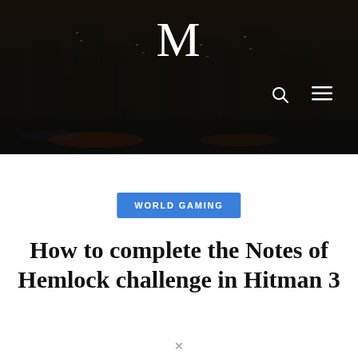[Figure (photo): Dark aerial city skyline photo used as header background with dark overlay]
M
WORLD GAMING
How to complete the Notes of Hemlock challenge in Hitman 3